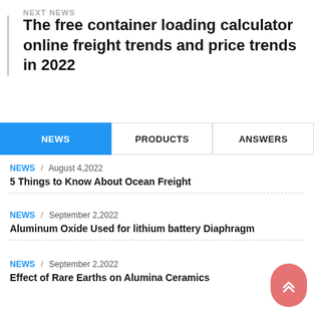NEXT NEWS
The free container loading calculator online freight trends and price trends in 2022
NEWS | PRODUCTS | ANSWERS
NEWS / August 4,2022
5 Things to Know About Ocean Freight
NEWS / September 2,2022
Aluminum Oxide Used for lithium battery Diaphragm
NEWS / September 2,2022
Effect of Rare Earths on Alumina Ceramics